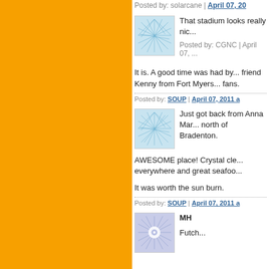Posted by: solarcane | April 07, 20...
[Figure (illustration): Blue avatar with network/web pattern]
That stadium looks really nic...
Posted by: CGNC | April 07, ...
It is. A good time was had by... friend Kenny from Fort Myers... fans.
Posted by: SOUP | April 07, 2011 a...
[Figure (illustration): Blue avatar with network/web pattern]
Just got back from Anna Mar... north of Bradenton.
AWESOME place! Crystal cle... everywhere and great seafoo...
It was worth the sun burn.
Posted by: SOUP | April 07, 2011 a...
[Figure (illustration): Purple/blue avatar with snowflake/star pattern]
MH
Futch...